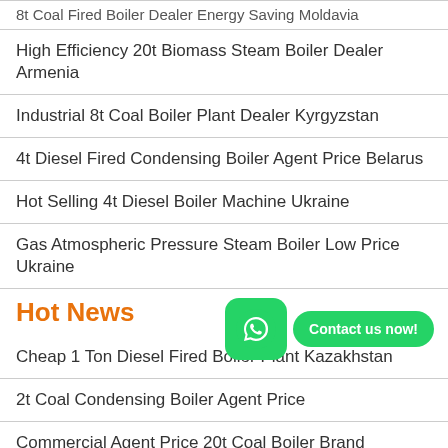8t Coal Fired Boiler Dealer Energy Saving Moldavia
High Efficiency 20t Biomass Steam Boiler Dealer Armenia
Industrial 8t Coal Boiler Plant Dealer Kyrgyzstan
4t Diesel Fired Condensing Boiler Agent Price Belarus
Hot Selling 4t Diesel Boiler Machine Ukraine
Gas Atmospheric Pressure Steam Boiler Low Price Ukraine
Hot News
[Figure (other): WhatsApp contact widget with green icon and 'Contact us now!' button]
Cheap 1 Ton Diesel Fired Boiler Plant Kazakhstan
2t Coal Condensing Boiler Agent Price
Commercial Agent Price 20t Coal Boiler Brand Kazakhstan